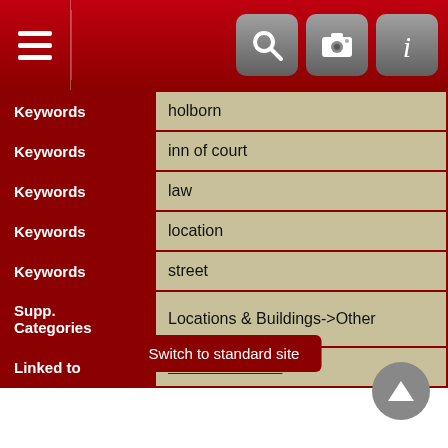Header bar with hamburger menu, search, camera, and info icons
| Field | Value |
| --- | --- |
| Keywords | holborn |
| Keywords | inn of court |
| Keywords | law |
| Keywords | location |
| Keywords | street |
| Supp. Categories | Locations & Buildings->Other |
| Linked to | Robert Welbank |
» Show All  «Prev  «1  ...  23  24  25  26  27  28  29  30  31  ...  51»  Next»
Switch to standard site